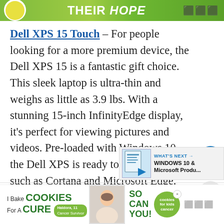[Figure (other): Green advertisement banner at top of page with circular logo, text 'their HOPE', and mute icon]
Dell XPS 15 Touch – For people looking for a more premium device, the Dell XPS 15 is a fantastic gift choice. This sleek laptop is ultra-thin and weighs as little as 3.9 lbs. With a stunning 15-inch InfinityEdge display, it's perfect for viewing pictures and videos. Pre-loaded with Windows 10, the Dell XPS is ready to go with features such as Cortana and Microsoft Edge. The Dell XPS 13 is available retail stores and online at Dell.com starting at $999.99.
[Figure (other): What's Next widget showing Windows 10 & Microsoft Products thumbnail]
[Figure (other): Bottom advertisement banner: I Bake COOKIES For A CURE, Haldora 11 Cancer Survivor, So can you!, cookies for kids cancer logo]